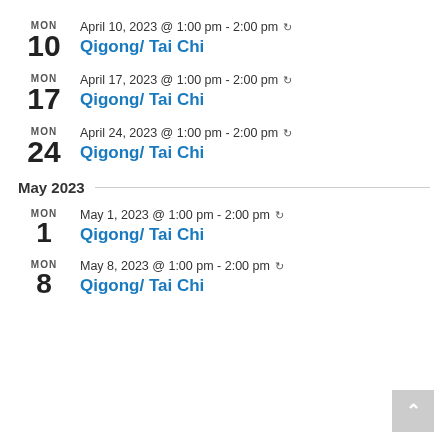MON 10 — April 10, 2023 @ 1:00 pm - 2:00 pm — Qigong/ Tai Chi
MON 17 — April 17, 2023 @ 1:00 pm - 2:00 pm — Qigong/ Tai Chi
MON 24 — April 24, 2023 @ 1:00 pm - 2:00 pm — Qigong/ Tai Chi
May 2023
MON 1 — May 1, 2023 @ 1:00 pm - 2:00 pm — Qigong/ Tai Chi
MON 8 — May 8, 2023 @ 1:00 pm - 2:00 pm — Qigong/ Tai Chi